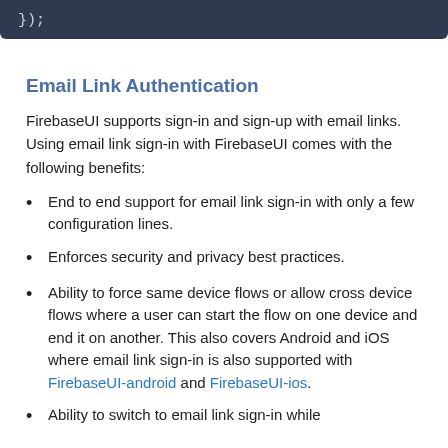[Figure (screenshot): Dark navy code block showing closing brace and semicolon: });]
Email Link Authentication
FirebaseUI supports sign-in and sign-up with email links. Using email link sign-in with FirebaseUI comes with the following benefits:
End to end support for email link sign-in with only a few configuration lines.
Enforces security and privacy best practices.
Ability to force same device flows or allow cross device flows where a user can start the flow on one device and end it on another. This also covers Android and iOS where email link sign-in is also supported with FirebaseUI-android and FirebaseUI-ios.
Ability to switch to email link sign-in while supporting existing sign-in with email and...